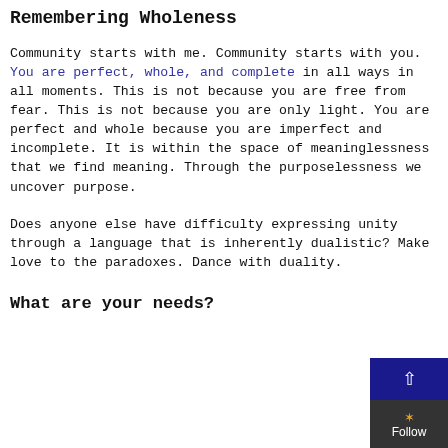Remembering Wholeness
Community starts with me. Community starts with you. You are perfect, whole, and complete in all ways in all moments. This is not because you are free from fear. This is not because you are only light. You are perfect and whole because you are imperfect and incomplete. It is within the space of meaninglessness that we find meaning. Through the purposelessness we uncover purpose.
Does anyone else have difficulty expressing unity through a language that is inherently dualistic? Make love to the paradoxes. Dance with duality.
What are your needs?
(partial cut-off text at bottom)